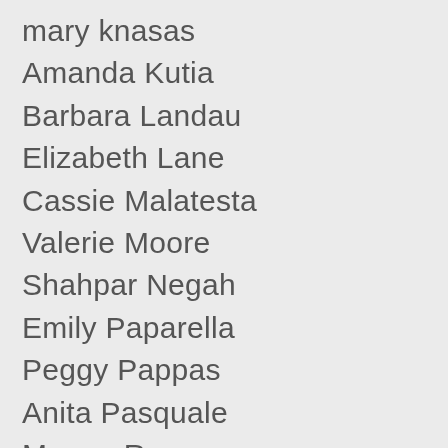mary knasas
Amanda Kutia
Barbara Landau
Elizabeth Lane
Cassie Malatesta
Valerie Moore
Shahpar Negah
Emily Paparella
Peggy Pappas
Anita Pasquale
Megan Rapone